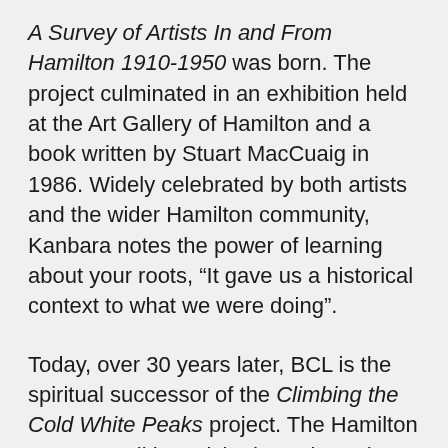A Survey of Artists In and From Hamilton 1910-1950 was born. The project culminated in an exhibition held at the Art Gallery of Hamilton and a book written by Stuart MacCuaig in 1986. Widely celebrated by both artists and the wider Hamilton community, Kanbara notes the power of learning about your roots, “It gave us a historical context to what we were doing”.
Today, over 30 years later, BCL is the spiritual successor of the Climbing the Cold White Peaks project. The Hamilton Arts Council has picked up where they left off, with generous support from the Ontario Trillium Foundation. BCL focuses on the years 1950-2000, with an exhibition at the Art Gallery of Hamilton along with the unveiling of the